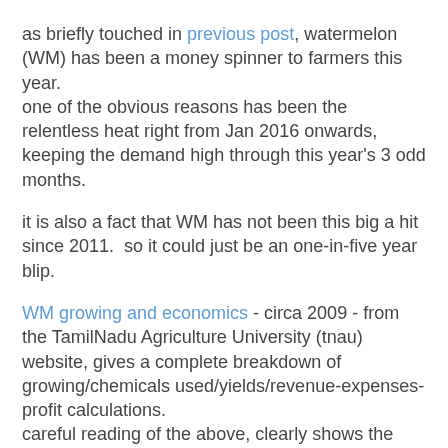as briefly touched in previous post, watermelon (WM) has been a money spinner to farmers this year.
one of the obvious reasons has been the relentless heat right from Jan 2016 onwards, keeping the demand high through this year's 3 odd months.
it is also a fact that WM has not been this big a hit since 2011.  so it could just be an one-in-five year blip.
WM growing and economics - circa 2009 - from the TamilNadu Agriculture University (tnau) website, gives a complete breakdown of growing/chemicals used/yields/revenue-expenses-profit calculations.
careful reading of the above, clearly shows the regularity and intensity of use of chemicals over the 65-75 day growing period.
and the costs of these chemicals is approx Rs. 25000 out of a total of Rs 45000.
the farmer misses out on seed cost which is pretty high.
this year farmers in our area have made a profit of around Rs.50000-75000/acre. these kind of figures are impossible with any basis or reality as illustrated below.